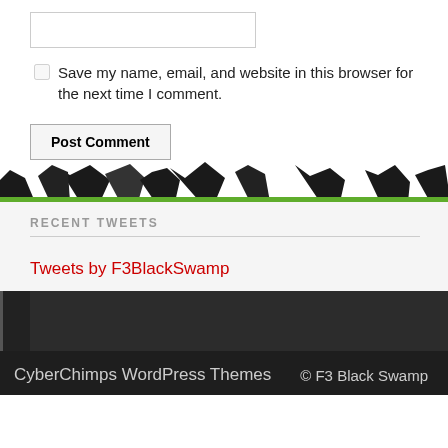Save my name, email, and website in this browser for the next time I comment.
Post Comment
RECENT TWEETS
Tweets by F3BlackSwamp
CyberChimps WordPress Themes | © F3 Black Swamp